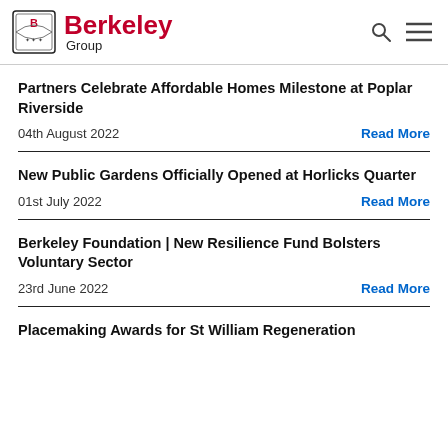Berkeley Group
Partners Celebrate Affordable Homes Milestone at Poplar Riverside
04th August 2022
Read More
New Public Gardens Officially Opened at Horlicks Quarter
01st July 2022
Read More
Berkeley Foundation | New Resilience Fund Bolsters Voluntary Sector
23rd June 2022
Read More
Placemaking Awards for St William Regeneration